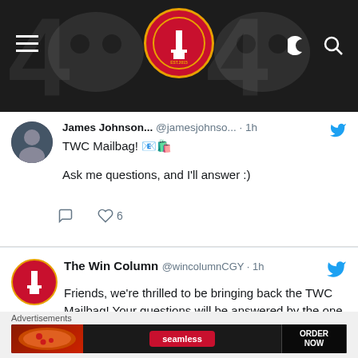[Figure (screenshot): Website header bar with dark background, hamburger menu icon on left, circular site logo in center (The Win Column), moon and search icons on right, with faded hockey team logo watermarks]
[Figure (screenshot): Tweet from James Johnson (@jamesjohnso...) 1h ago: 'TWC Mailbag! [envelope emoji][shopping bag emoji] Ask me questions, and I'll answer :)' with reply and 6 likes actions]
[Figure (screenshot): Tweet from The Win Column @wincolumnCGY 1h: 'Friends, we're thrilled to be bringing back the TWC Mailbag! Your questions will be answered by the one and only @JamesJohnsonYYC. Ask away!' with hashtags #Flames #JJScoops]
Advertisements
[Figure (photo): Seamless food delivery advertisement banner with pizza image on left, Seamless logo in center, and ORDER NOW button on right]